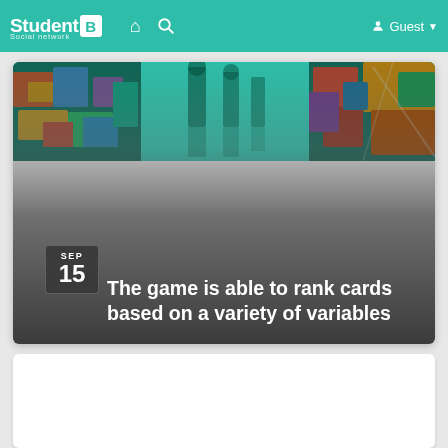StudentB Social network — Guest
[Figure (screenshot): Banner image showing colorful traditional clothing/textiles on left and right sides with a teal/green background in the center showing silhouettes]
The game is able to rank cards based on a variety of variables
SEP 15